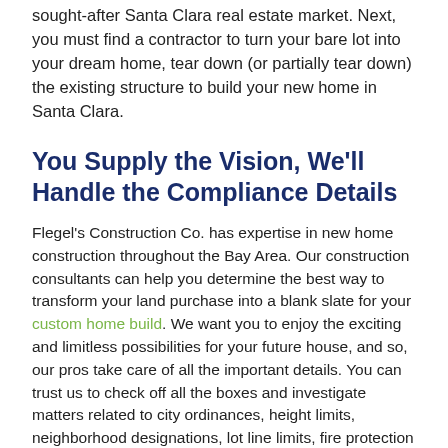sought-after Santa Clara real estate market. Next, you must find a contractor to turn your bare lot into your dream home, tear down (or partially tear down) the existing structure to build your new home in Santa Clara.
You Supply the Vision, We'll Handle the Compliance Details
Flegel's Construction Co. has expertise in new home construction throughout the Bay Area. Our construction consultants can help you determine the best way to transform your land purchase into a blank slate for your custom home build. We want you to enjoy the exciting and limitless possibilities for your future house, and so, our pros take care of all the important details. You can trust us to check off all the boxes and investigate matters related to city ordinances, height limits, neighborhood designations, lot line limits, fire protection requirements, and drought-friendly landscaping, in the building plans.
When you build your new home in Santa Clara, you can trust...